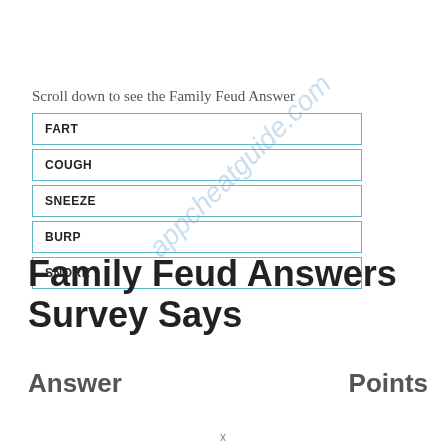Scroll down to see the Family Feud Answer
| FART |
| COUGH |
| SNEEZE |
| BURP |
| SNORE |
Family Feud Answers Survey Says
Answer	Points